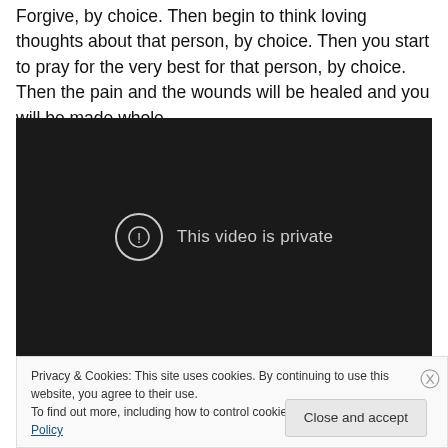Forgive, by choice. Then begin to think loving thoughts about that person, by choice. Then you start to pray for the very best for that person, by choice. Then the pain and the wounds will be healed and you will be made whole.
[Figure (screenshot): Embedded video player showing 'This video is private' message with an exclamation icon on a dark background.]
Privacy & Cookies: This site uses cookies. By continuing to use this website, you agree to their use.
To find out more, including how to control cookies, see here: Cookie Policy